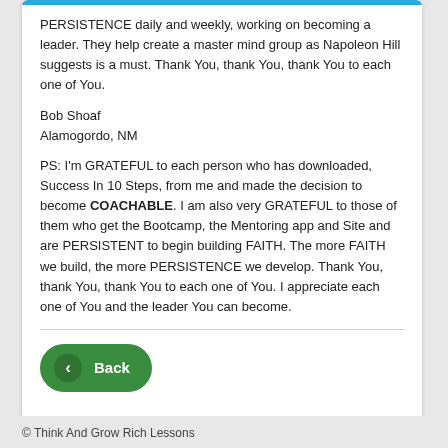PERSISTENCE daily and weekly, working on becoming a leader. They help create a master mind group as Napoleon Hill suggests is a must. Thank You, thank You, thank You to each one of You.
Bob Shoaf
Alamogordo, NM
PS: I'm GRATEFUL to each person who has downloaded, Success In 10 Steps, from me and made the decision to become COACHABLE. I am also very GRATEFUL to those of them who get the Bootcamp, the Mentoring app and Site and are PERSISTENT to begin building FAITH. The more FAITH we build, the more PERSISTENCE we develop. Thank You, thank You, thank You to each one of You. I appreciate each one of You and the leader You can become.
[Figure (other): Green Back button with left chevron icon]
© Think And Grow Rich Lessons